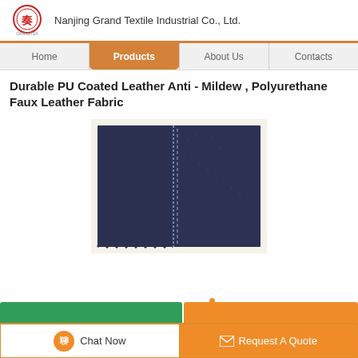Nanjing Grand Textile Industrial Co., Ltd.
Durable PU Coated Leather Anti - Mildew , Polyurethane Faux Leather Fabric
[Figure (photo): Photo showing dark navy/blue PU coated faux leather fabric samples — two swatches with visible texture and stitching detail, laid on a light cream background.]